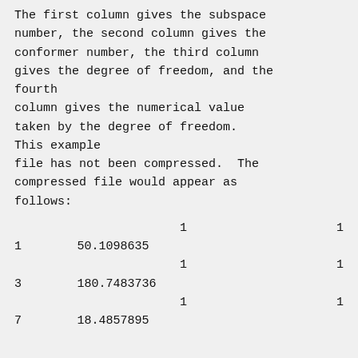The first column gives the subspace number, the second column gives the conformer number, the third column gives the degree of freedom, and the fourth
column gives the numerical value taken by the degree of freedom. This example
file has not been compressed.  The compressed file would appear as follows:
|  | 1 |  | 1 |
| 1 | 50.1098635 |  |  |
|  | 1 |  | 1 |
| 3 | 180.7483736 |  |  |
|  | 1 |  | 1 |
| 7 | 18.4857895 |  |  |